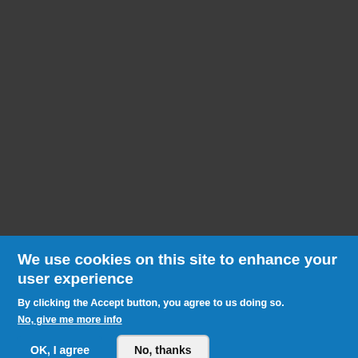[Figure (screenshot): Dark gray background area occupying the upper portion of the page, representing a dimmed website content area behind a cookie consent banner.]
We use cookies on this site to enhance your user experience
By clicking the Accept button, you agree to us doing so.
No, give me more info